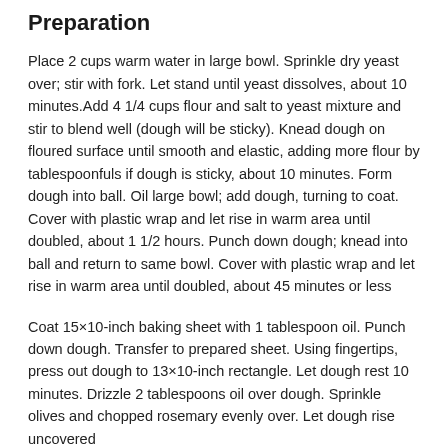Preparation
Place 2 cups warm water in large bowl. Sprinkle dry yeast over; stir with fork. Let stand until yeast dissolves, about 10 minutes.Add 4 1/4 cups flour and salt to yeast mixture and stir to blend well (dough will be sticky). Knead dough on floured surface until smooth and elastic, adding more flour by tablespoonfuls if dough is sticky, about 10 minutes. Form dough into ball. Oil large bowl; add dough, turning to coat. Cover with plastic wrap and let rise in warm area until doubled, about 1 1/2 hours. Punch down dough; knead into ball and return to same bowl. Cover with plastic wrap and let rise in warm area until doubled, about 45 minutes or less
Coat 15×10-inch baking sheet with 1 tablespoon oil. Punch down dough. Transfer to prepared sheet. Using fingertips, press out dough to 13×10-inch rectangle. Let dough rest 10 minutes. Drizzle 2 tablespoons oil over dough. Sprinkle olives and chopped rosemary evenly over. Let dough rise uncovered